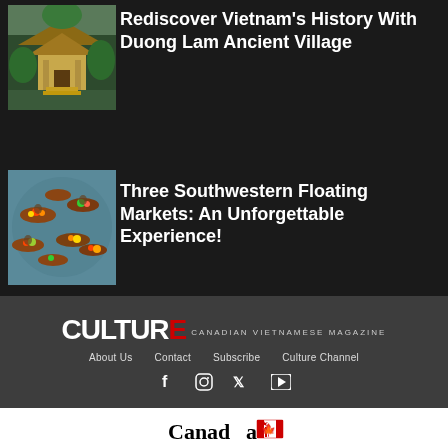Rediscover Vietnam’s History With Duong Lam Ancient Village
[Figure (photo): Temple or shrine with greenery, Vietnamese architecture]
Three Southwestern Floating Markets: An Unforgettable Experience!
[Figure (photo): Aerial view of boats with colorful goods on a river floating market]
CULTURE CANADIAN VIETNAMESE MAGAZINE
About Us   Contact   Subscribe   Culture Channel
[Figure (logo): Canada wordmark with maple leaf flag symbol]